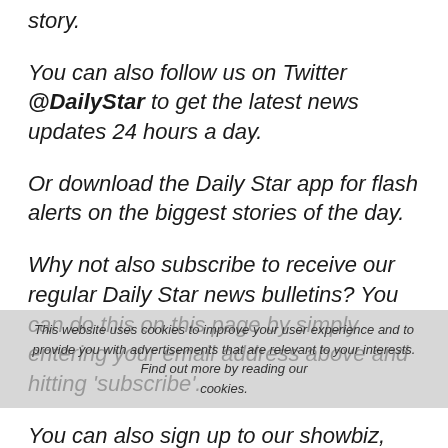story.
You can also follow us on Twitter @DailyStar to get the latest news updates 24 hours a day.
Or download the Daily Star app for flash alerts on the biggest stories of the day.
Why not also subscribe to receive our regular Daily Star news bulletins? You can do this on this page by simply entering your email address above and hitting 'subscribe'.
This website uses cookies to improve your user experience and to provide you with advertisements that are relevant to your interests. Find out more by reading our cookies.
You can also sign up to our showbiz, sport and lifestyle newsletters by clicking here